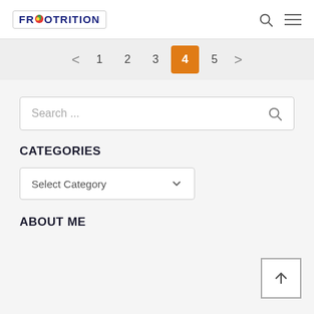FROOTRITION
[Figure (screenshot): Pagination bar showing pages 1, 2, 3, 4 (active/highlighted in orange), 5 with prev/next arrows]
[Figure (screenshot): Search input box with placeholder text 'Search ...' and magnifying glass icon]
CATEGORIES
[Figure (screenshot): Select Category dropdown box with chevron]
ABOUT ME